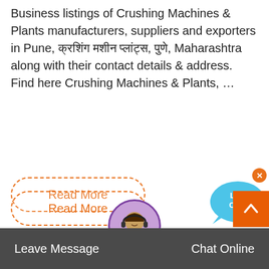Business listings of Crushing Machines & Plants manufacturers, suppliers and exporters in Pune, क्रशिंग मशीन प्लांट्स, पुणे, Maharashtra along with their contact details & address. Find here Crushing Machines & Plants, …
Read More
satara maharashtra anewadi om siddhia stone crushers
satara maharashtra anewadi om siddhia stone crushers Satara Maharashtra Anewadi Om Siddhia Stone Crushers Grinding machine catalog crusher towkalapur satara ma +86 21 33901608 [email protected] Home
Read More
Leave Message   Chat Online